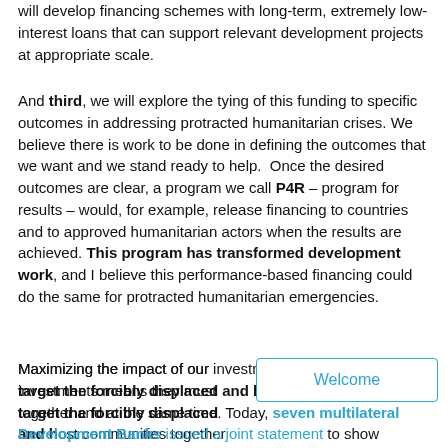will develop financing schemes with long-term, extremely low-interest loans that can support relevant development projects at appropriate scale.
And third, we will explore the tying of this funding to specific outcomes in addressing protracted humanitarian crises. We believe there is work to be done in defining the outcomes that we want and we stand ready to help.  Once the desired outcomes are clear, a program we call P4R – program for results – would, for example, release financing to countries and to approved humanitarian actors when the results are achieved. This program has transformed development work, and I believe this performance-based financing could do the same for protracted humanitarian emergencies.
Maximizing the impact of our investments means they must target the forcibly displaced and host communities together and at the same time. Today, seven multilateral Development Banks issued a joint statement to show